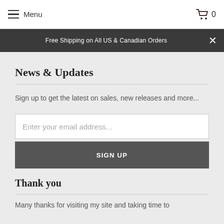Menu  0
Free Shipping on All US & Canadian Orders
News & Updates
Sign up to get the latest on sales, new releases and more...
Enter your email address...
SIGN UP
Thank you
Many thanks for visiting my site and taking time to